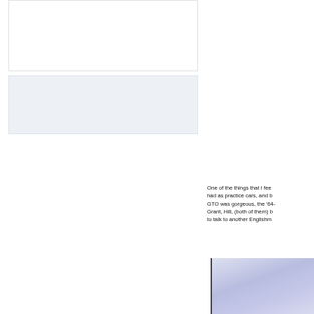[Figure (photo): White/blank area top left, appears to be a photograph or image placeholder with light background]
[Figure (photo): Light blue-grey shaded rectangular image area below the first image on the left side]
One of the things that I feel had as practice cars, and b GTO was gorgeous, the '64- Grant, Hill, (both of them) b to talk to another Englishm
[Figure (photo): Partially visible photograph with blue-purple tones in the bottom right corner of the page]